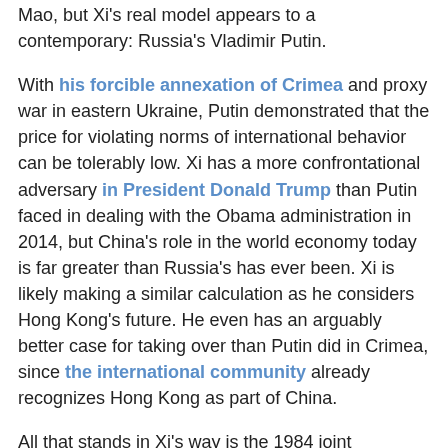Mao, but Xi's real model appears to a contemporary: Russia's Vladimir Putin.
With his forcible annexation of Crimea and proxy war in eastern Ukraine, Putin demonstrated that the price for violating norms of international behavior can be tolerably low. Xi has a more confrontational adversary in President Donald Trump than Putin faced in dealing with the Obama administration in 2014, but China's role in the world economy today is far greater than Russia's has ever been. Xi is likely making a similar calculation as he considers Hong Kong's future. He even has an arguably better case for taking over than Putin did in Crimea, since the international community already recognizes Hong Kong as part of China.
All that stands in Xi's way is the 1984 joint declaration that set the terms for the handover from the U.K., and the courage and tenacity of